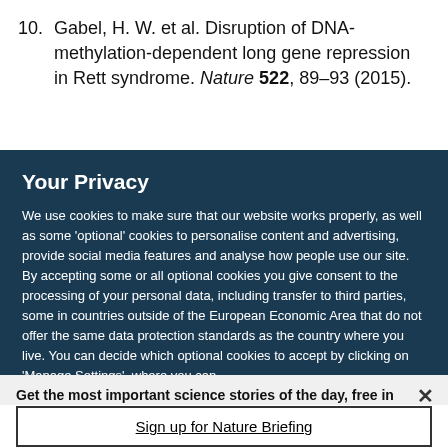10. Gabel, H. W. et al. Disruption of DNA-methylation-dependent long gene repression in Rett syndrome. Nature 522, 89–93 (2015).
Your Privacy
We use cookies to make sure that our website works properly, as well as some 'optional' cookies to personalise content and advertising, provide social media features and analyse how people use our site. By accepting some or all optional cookies you give consent to the processing of your personal data, including transfer to third parties, some in countries outside of the European Economic Area that do not offer the same data protection standards as the country where you live. You can decide which optional cookies to accept by clicking on 'Manage Settings', where you can
Get the most important science stories of the day, free in your inbox.
Sign up for Nature Briefing